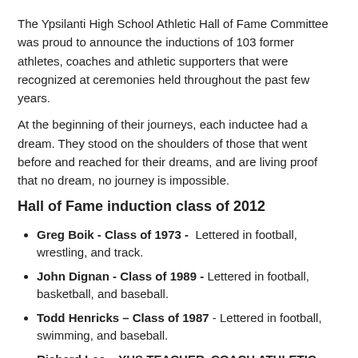The Ypsilanti High School Athletic Hall of Fame Committee was proud to announce the inductions of 103 former athletes, coaches and athletic supporters that were recognized at ceremonies held throughout the past few years.
At the beginning of their journeys, each inductee had a dream. They stood on the shoulders of those that went before and reached for their dreams, and are living proof that no dream, no journey is impossible.
Hall of Fame induction class of 2012
Greg Boik - Class of 1973 - Lettered in football, wrestling, and track.
John Dignan - Class of 1989 - Lettered in football, basketball, and baseball.
Todd Henricks – Class of 1987 - Lettered in football, swimming, and baseball.
Richard Lee – YHS TEACHER, COACH ATHLETIC